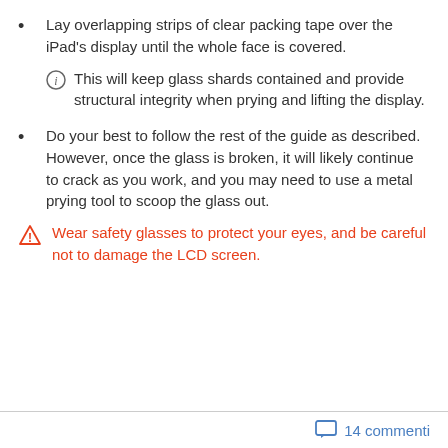Lay overlapping strips of clear packing tape over the iPad's display until the whole face is covered.
This will keep glass shards contained and provide structural integrity when prying and lifting the display.
Do your best to follow the rest of the guide as described. However, once the glass is broken, it will likely continue to crack as you work, and you may need to use a metal prying tool to scoop the glass out.
Wear safety glasses to protect your eyes, and be careful not to damage the LCD screen.
14 commenti